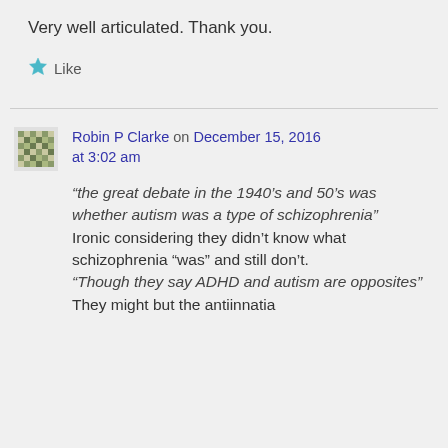Very well articulated. Thank you.
Like
Robin P Clarke on December 15, 2016 at 3:02 am
“the great debate in the 1940’s and 50’s was whether autism was a type of schizophrenia” Ironic considering they didn’t know what schizophrenia “was” and still don’t. “Though they say ADHD and autism are opposites” They might but the antiinnatia